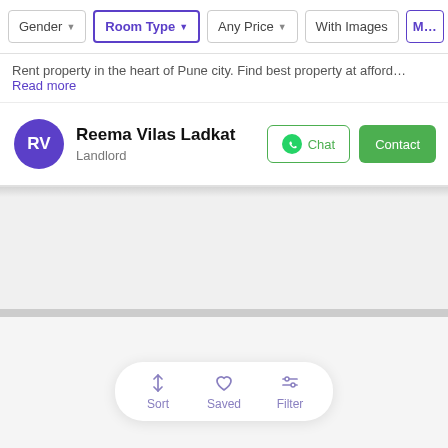[Figure (screenshot): Filter bar with Gender, Room Type (active/highlighted in purple), Any Price, With Images, and more dropdown buttons]
Rent property in the heart of Pune city. Find best property at afford… Read more
Reema Vilas Ladkat
Landlord
Chat  Contact
[Figure (screenshot): Gray content area below landlord card, empty/loading state]
[Figure (screenshot): Bottom navigation bar with Sort, Saved, and Filter icons in a white rounded pill]